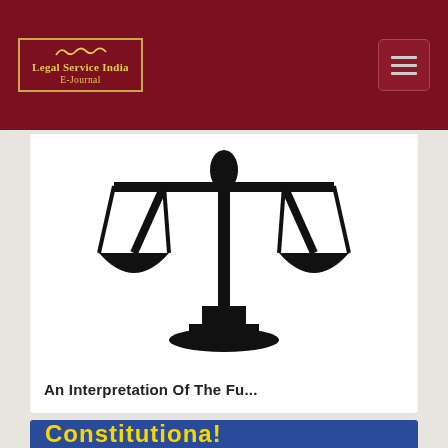Legal Service India E-Journal
[Figure (logo): Legal Service India E-Journal logo with gold border and decorative swirl on dark red background]
[Figure (illustration): Black silhouette of a scales of justice / balance scale icon on white background]
An Interpretation Of The Fu...
[Figure (photo): Partial view of article image with yellow text 'Constitutional' on colorful background]